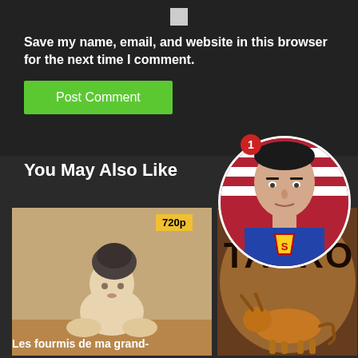[Figure (screenshot): Checkbox (checked/empty square) centered at top]
Save my name, email, and website in this browser for the next time I comment.
[Figure (screenshot): Green 'Post Comment' button]
[Figure (photo): Circular profile photo with red notification badge showing '1' — photo of a man in Superman costume]
You May Also Like
[Figure (photo): Left thumbnail: image of a clay-like figure/sculpture with dark hair, with yellow '720p' badge overlay]
Les fourmis de ma grand-
[Figure (photo): Right thumbnail: dark cave-painting style image with 'TAURO' text and illustration of a bull]